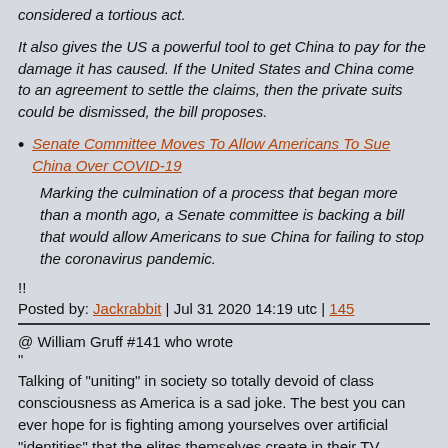considered a tortious act.
It also gives the US a powerful tool to get China to pay for the damage it has caused. If the United States and China come to an agreement to settle the claims, then the private suits could be dismissed, the bill proposes.
Senate Committee Moves To Allow Americans To Sue China Over COVID-19
Marking the culmination of a process that began more than a month ago, a Senate committee is backing a bill that would allow Americans to sue China for failing to stop the coronavirus pandemic.
!!
Posted by: Jackrabbit | Jul 31 2020 14:19 utc | 145
@ William Gruff #141 who wrote
"
Talking of "uniting" in society so totally devoid of class consciousness as America is a sad joke. The best you can ever hope for is fighting among yourselves over artificial "identities" that the elites themselves create in their TV